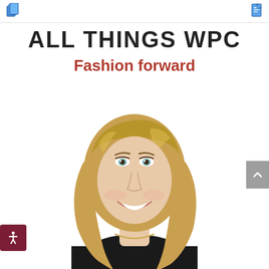ALL THINGS WPC
Fashion forward
[Figure (photo): Young woman with long blonde wavy hair smiling, wearing a black top and gold chain necklace, professional headshot style photo against white background.]
[Figure (logo): Two small toolbar icons at top: blue notebook/documents icon on left, blue document icon on right.]